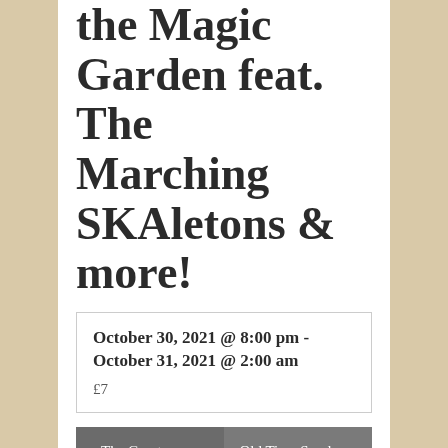the Magic Garden feat. The Marching SKAletons & more!
October 30, 2021 @ 8:00 pm - October 31, 2021 @ 2:00 am
£7
« The Great Malarkey / King Punch / DJ Scratchiest
Old Time Sunday »